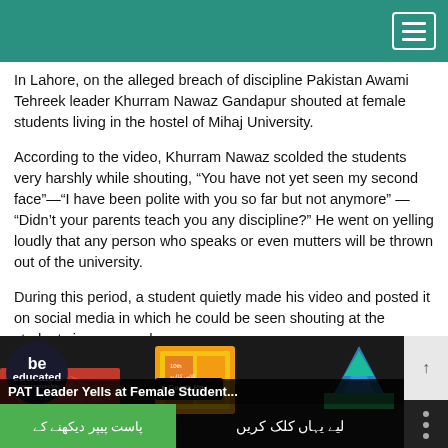In Lahore, on the alleged breach of discipline Pakistan Awami Tehreek leader Khurram Nawaz Gandapur shouted at female students living in the hostel of Mihaj University.
According to the video, Khurram Nawaz scolded the students very harshly while shouting, “You have not yet seen my second face”—“I have been polite with you so far but not anymore” — “Didn’t your parents teach you any discipline?” He went on yelling loudly that any person who speaks or even mutters will be thrown out of the university.
During this period, a student quietly made his video and posted it on social media in which he could be seen shouting at the students in a very rude manner.
[Figure (screenshot): Video thumbnail showing 'PAT Leader Yells at Female Student...' with Be Educated logo, Urdu text overlays and colorful graphics on dark background]